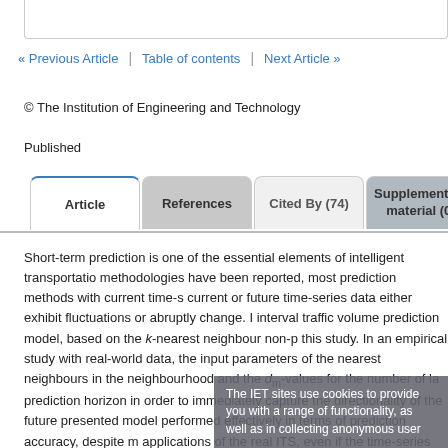« Previous Article | Table of contents | Next Article »
© The Institution of Engineering and Technology
Published
Article | References | Cited By (74) | Supplementary material (0) | Ke
Short-term prediction is one of the essential elements of intelligent transportation methodologies have been reported, most prediction methods with current time-s current or future time-series data either exhibit fluctuations or abruptly change. interval traffic volume prediction model, based on the k-nearest neighbour non-p this study. In an empirical study with real-world data, the input parameters of the nearest neighbours in the neighbourhood and the dm-values for the number of la prediction horizon in order to immediately capture the directionality of the future presented model performed effectively in terms of prediction accuracy, despite m applications of the real ITS, even if the time-series data abruptly varied or exhibi proposed methodology is one of the promising system-oriented approaches in t